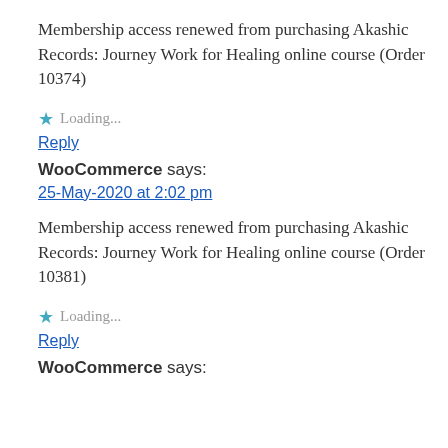Membership access renewed from purchasing Akashic Records: Journey Work for Healing online course (Order 10374)
★ Loading...
Reply
WooCommerce says:
25-May-2020 at 2:02 pm
Membership access renewed from purchasing Akashic Records: Journey Work for Healing online course (Order 10381)
★ Loading...
Reply
WooCommerce says: